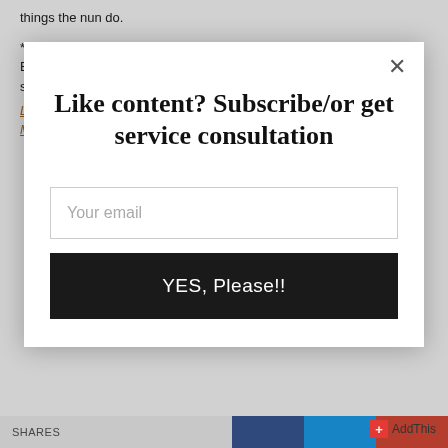things the nun do.
***Originally written / republished by a different author Kalen Bruce *** are not endorsing anyone in this material just simply sharing ight that could be useful.
Label: Financial Tip, Men, Support Founders Under 40, Wealth, Women & Minorities
Like content? Subscribe/or get service consultation
Your email
YES, Please!!
SHARES
AddThis